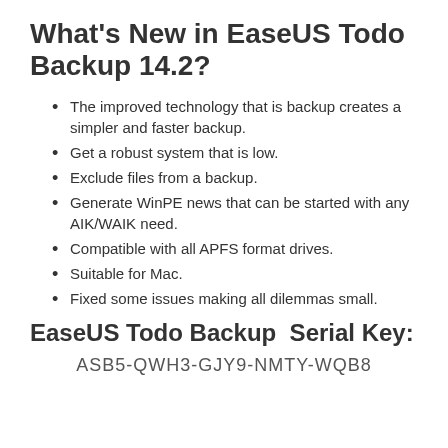What's New in EaseUS Todo Backup 14.2?
The improved technology that is backup creates a simpler and faster backup.
Get a robust system that is low.
Exclude files from a backup.
Generate WinPE news that can be started with any AIK/WAIK need.
Compatible with all APFS format drives.
Suitable for Mac.
Fixed some issues making all dilemmas small.
EaseUS Todo Backup  Serial Key:
ASB5-QWH3-GJY9-NMTY-WQB8